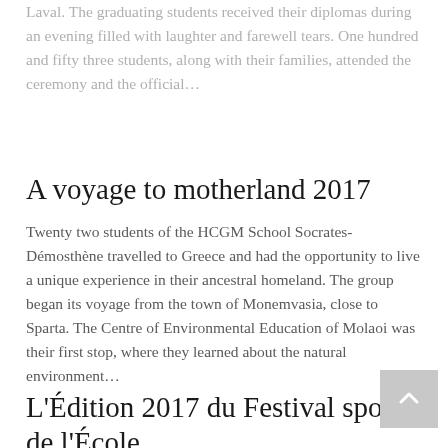Laval. The graduating students received their diplomas during an evening filled with laughter and farewell tears. One hundred and fifty three students, along with their families, attended the ceremony and the official…
A voyage to motherland 2017
Twenty two students of the HCGM School Socrates-Démosthène travelled to Greece and had the opportunity to live a unique experience in their ancestral homeland. The group began its voyage from the town of Monemvasia, close to Sparta. The Centre of Environmental Education of Molaoi was their first stop, where they learned about the natural environment…
L'Édition 2017 du Festival sportif de l'École